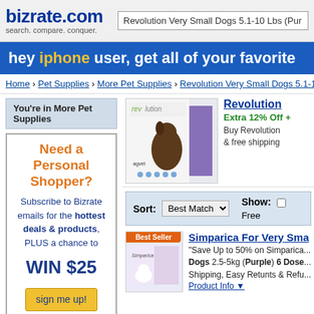bizrate.com search. compare. conquer. | Revolution Very Small Dogs 5.1-10 Lbs (Pur...
[Figure (screenshot): Bizrate.com promotional banner: hey iphone user, get all of your favorite]
Home › Pet Supplies › More Pet Supplies › Revolution Very Small Dogs 5.1-1...
You're in More Pet Supplies
Need a Personal Shopper? Subscribe to Bizrate emails for the hottest deals & products, PLUS a chance to WIN $25 sign me up! New winners chosen weekly. No purchase necessary.
[Figure (photo): Revolution product box with small dog image]
Revolution
Extra 12% Off +
Buy Revolution... & free shipping...
Sort: Best Match   Show: Free...
[Figure (photo): Simparica product packaging with small dog image and Best Seller badge]
Simparica For Very Sma...
"Save Up to 50% on Simparica... Dogs 2.5-5kg (Purple) 6 Dose... Shipping, Easy Retunts & Refu...
Product Info